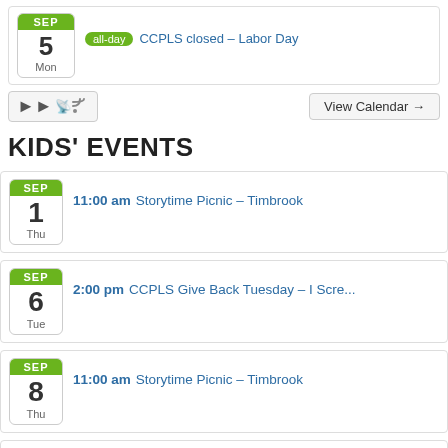SEP 5 Mon | all-day CCPLS closed – Labor Day
RSS | View Calendar →
KIDS' EVENTS
SEP 1 Thu | 11:00 am Storytime Picnic – Timbrook
SEP 6 Tue | 2:00 pm CCPLS Give Back Tuesday – I Scre...
SEP 8 Thu | 11:00 am Storytime Picnic – Timbrook
SEP 9 Fri | 11:00 am Enchanted Trail: A Most Helpful ...